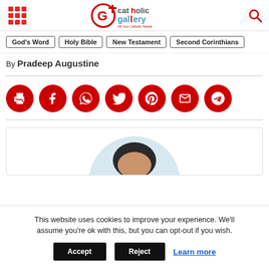Catholic Gallery - All Your Catholic Needs
God's Word | Holy Bible | New Testament | Second Corinthians
By Pradeep Augustine
[Figure (infographic): Row of 7 red circular social sharing buttons: print, Facebook, WhatsApp, Twitter, Pinterest, email, Telegram]
[Figure (photo): Partial profile photo of a person inside a card/box, showing top of head against a light blue circular background]
This website uses cookies to improve your experience. We'll assume you're ok with this, but you can opt-out if you wish.